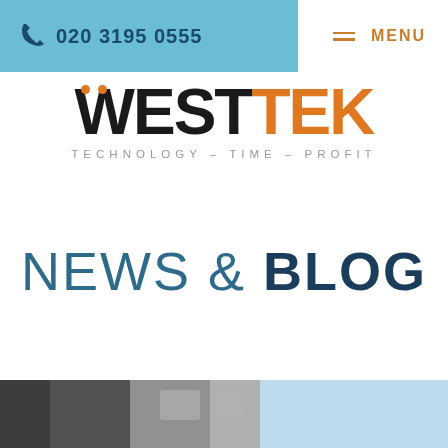020 3195 0555   MENU
[Figure (logo): WestTek logo with orange dots above W, text WEST in black and TEK in orange, tagline TECHNOLOGY - TIME - PROFIT in grey]
NEWS & BLOG
[Figure (photo): Partial blurred photo strip at the bottom of the page]